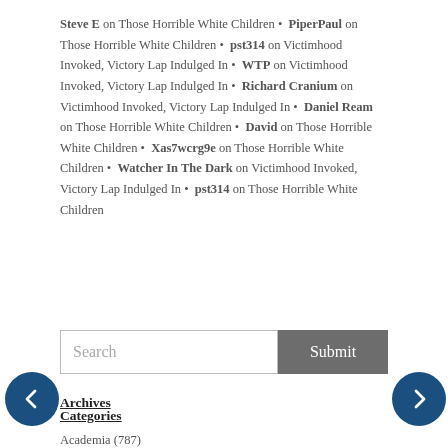Steve E on Those Horrible White Children • PiperPaul on Those Horrible White Children • pst314 on Victimhood Invoked, Victory Lap Indulged In • WTP on Victimhood Invoked, Victory Lap Indulged In • Richard Cranium on Victimhood Invoked, Victory Lap Indulged In • Daniel Ream on Those Horrible White Children • David on Those Horrible White Children • Xas7wcrg9e on Those Horrible White Children • Watcher In The Dark on Victimhood Invoked, Victory Lap Indulged In • pst314 on Those Horrible White Children
Search | Submit
Categories
Academia (787)
Agonies of the Left (22)
And Then It Caught Fire (1)
Anthropology (1002)
Architecture (2)
See More
Archives
September 2022 • August 2022 • July 2022 • June 2022 • May 2022 • April 2022